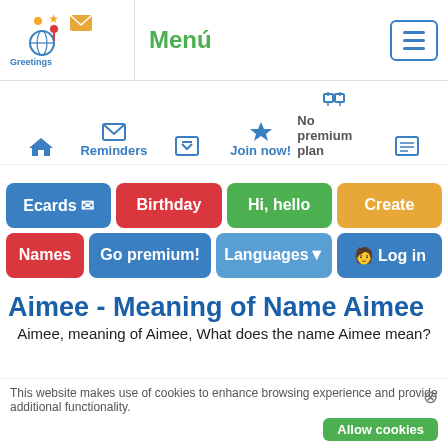[Figure (logo): GreetingsForever.com logo with icons]
Menú
Reminders
Join now!
No premium plan
Ecards ✉
Birthday
Hi, hello
Create
Names
Go premium!
Languages▼
🧑 Log in
Aimee - Meaning of Name Aimee
Aimee, meaning of Aimee, What does the name Aimee mean?
This website makes use of cookies to enhance browsing experience and provide additional functionality.